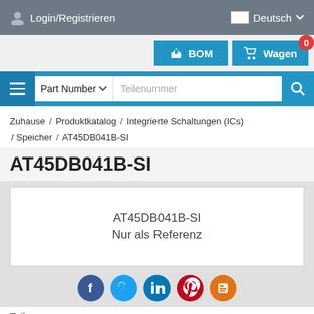Login/Registrieren   Deutsch
[Figure (screenshot): BOM and Wagen (cart) buttons with cart badge showing 0]
[Figure (screenshot): Search bar with Part Number dropdown and Teilenummer placeholder]
Zuhause / Produktkatalog / Integrierte Schaltungen (ICs) / Speicher / AT45DB041B-SI
AT45DB041B-SI
[Figure (other): Product image box showing 'AT45DB041B-SI' and 'Nur als Referenz' text]
[Figure (other): Social media share icons: Facebook, Twitter, LinkedIn, Pinterest, Blogger]
Teilenummer
AT45DB041B-SI
Hersteller